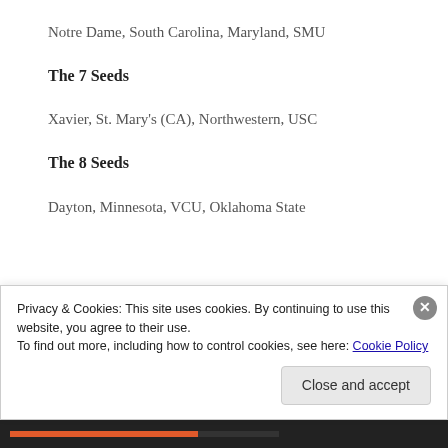Notre Dame, South Carolina, Maryland, SMU
The 7 Seeds
Xavier, St. Mary's (CA), Northwestern, USC
The 8 Seeds
Dayton, Minnesota, VCU, Oklahoma State
Privacy & Cookies: This site uses cookies. By continuing to use this website, you agree to their use.
To find out more, including how to control cookies, see here: Cookie Policy